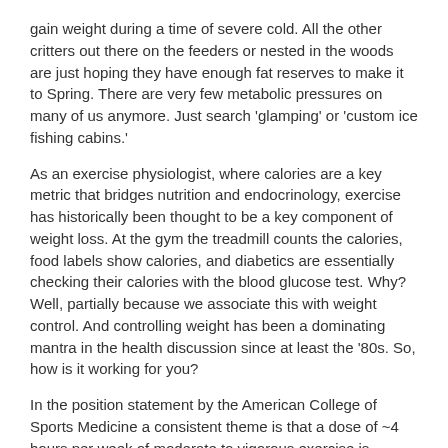gain weight during a time of severe cold. All the other critters out there on the feeders or nested in the woods are just hoping they have enough fat reserves to make it to Spring. There are very few metabolic pressures on many of us anymore. Just search 'glamping' or 'custom ice fishing cabins.'
As an exercise physiologist, where calories are a key metric that bridges nutrition and endocrinology, exercise has historically been thought to be a key component of weight loss. At the gym the treadmill counts the calories, food labels show calories, and diabetics are essentially checking their calories with the blood glucose test. Why? Well, partially because we associate this with weight control. And controlling weight has been a dominating mantra in the health discussion since at least the '80s. So, how is it working for you?
In the position statement by the American College of Sports Medicine a consistent theme is that a dose of ~4 hours per week of moderate to vigorous exercise is required weekly. That would translate into roughly 1600-2500 calories burned per week by an individual. Some researchers still believe exercise has minimal effects on weight loss, but many agree exercise is a critical part of